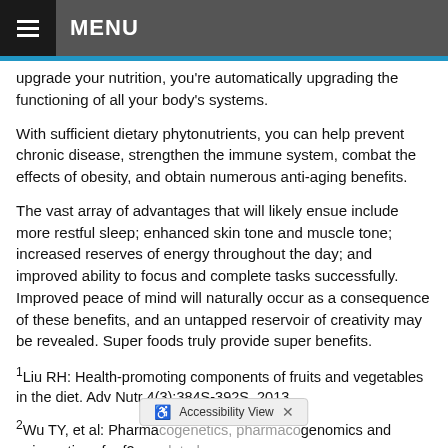MENU
upgrade your nutrition, you're automatically upgrading the functioning of all your body's systems.
With sufficient dietary phytonutrients, you can help prevent chronic disease, strengthen the immune system, combat the effects of obesity, and obtain numerous anti-aging benefits.
The vast array of advantages that will likely ensue include more restful sleep; enhanced skin tone and muscle tone; increased reserves of energy throughout the day; and improved ability to focus and complete tasks successfully. Improved peace of mind will naturally occur as a consequence of these benefits, and an untapped reservoir of creativity may be revealed. Super foods truly provide super benefits.
1Liu RH: Health-promoting components of fruits and vegetables in the diet. Adv Nutr 4(3):384S-392S, 2013
2Wu TY, et al: Pharmacogenetics, pharmacogenomics and epigenetics of nrf2-regulated